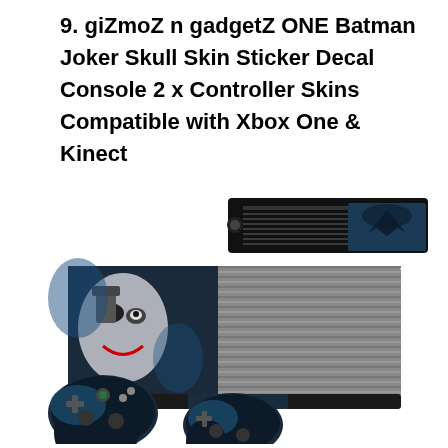9. giZmoZ n gadgetZ ONE Batman Joker Skull Skin Sticker Decal Console 2 x Controller Skins Compatible with Xbox One & Kinect
[Figure (photo): Xbox One gaming console with Batman Joker Skull skin sticker decal applied. The console shows a dark Joker face image on the front panel. A Kinect sensor bar sits on top right with Batman imagery. Two controllers with matching Joker/Batman skin decals are shown in front of the console.]